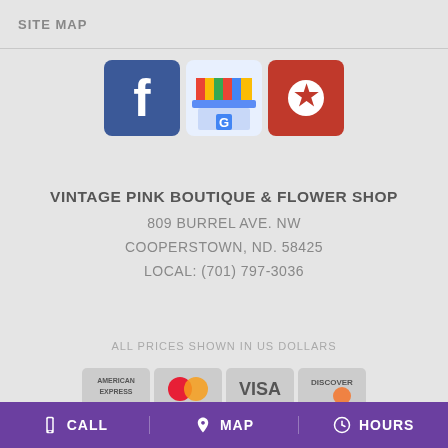SITE MAP
[Figure (logo): Three social media icons: Facebook (blue square with white f), Google My Business (blue storefront with G), and Yelp (red square with white burst/flower icon)]
VINTAGE PINK BOUTIQUE & FLOWER SHOP
809 BURREL AVE. NW
COOPERSTOWN, ND. 58425
LOCAL: (701) 797-3036
ALL PRICES SHOWN IN US DOLLARS
[Figure (logo): Payment method logos: American Express, Mastercard, Visa, Discover]
CALL   MAP   HOURS